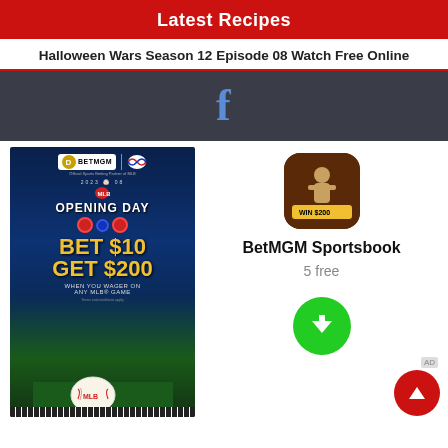Latest Recipes
Halloween Wars Season 12 Episode 08 Watch Free Online
[Figure (screenshot): Dark social bar with Facebook icon]
[Figure (screenshot): BetMGM MLB Opening Day ad: BET $10 GET $200 WHEN YOU WAGER ON ANY MLB GAME]
[Figure (screenshot): BetMGM Sportsbook app icon with baseball player and WIN $200 text]
BetMGM Sportsbook
5 free
[Figure (other): Green circular download button with down arrow]
[Figure (other): Red circular scroll-to-top button with up arrow]